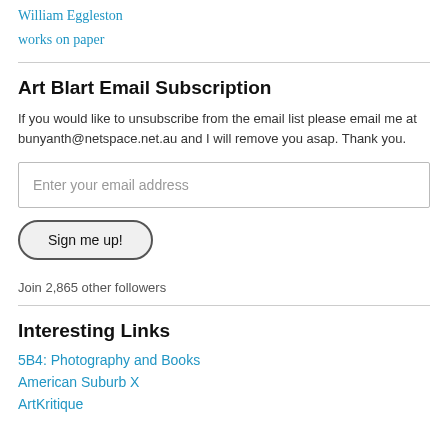William Eggleston
works on paper
Art Blart Email Subscription
If you would like to unsubscribe from the email list please email me at bunyanth@netspace.net.au and I will remove you asap. Thank you.
Enter your email address
Sign me up!
Join 2,865 other followers
Interesting Links
5B4: Photography and Books
American Suburb X
ArtKritique